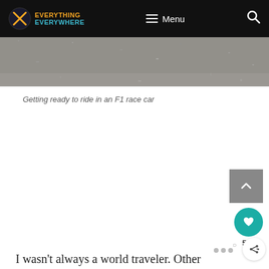EVERYTHING EVERYWHERE — Menu
[Figure (photo): Partial view of an F1 race car preparation area, grainy/textured surface visible]
Getting ready to ride in an F1 race car
I wasn't always a world traveler. Other